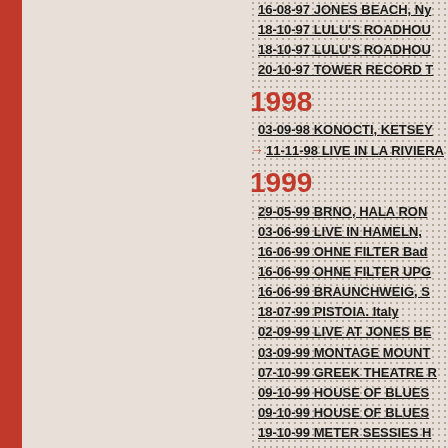16-08-97 JONES BEACH, Ny
18-10-97 LULU'S ROADHOU
18-10-97 LULU'S ROADHOU
20-10-97 TOWER RECORD T
1998
03-09-98 KONOCTI, KETSEY
11-11-98 LIVE IN LA RIVIERA
1999
29-05-99 BRNO, HALA RON
03-06-99 LIVE IN HAMELN,
16-06-99 OHNE FILTER Bad
16-06-99 OHNE FILTER UPG
16-06-99 BRAUNCHWEIG, S
18-07-99 PISTOIA. Italy
02-09-99 LIVE AT JONES BE
03-09-99 MONTAGE MOUNT
07-10-99 GREEK THEATRE R
09-10-99 HOUSE OF BLUES
09-10-99 HOUSE OF BLUES
19-10-99 METER SESSIES H
10-11-99 PALALIDO, Milan,
02-11-99 DRESDEN, KULTU
18-11-99 NOTTINGHAM, RO